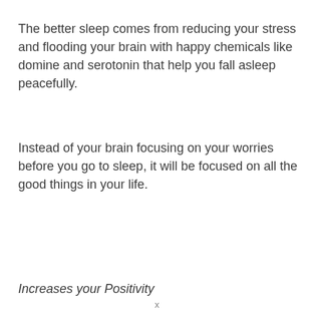The better sleep comes from reducing your stress and flooding your brain with happy chemicals like domine and serotonin that help you fall asleep peacefully.
Instead of your brain focusing on your worries before you go to sleep, it will be focused on all the good things in your life.
Increases your Positivity
x